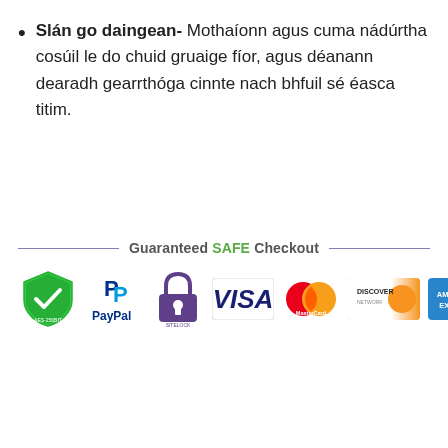Slán go daingean- Mothaíonn agus cuma nádúrtha cosúil le do chuid gruaige fíor, agus déanann dearadh gearrthóga cinnte nach bhfuil sé éasca titim.
[Figure (infographic): Guaranteed SAFE Checkout banner with payment method logos: AES-256 secured shield, PayPal, padlock/SiteLock, VISA, MasterCard, Discover Network, American Express]